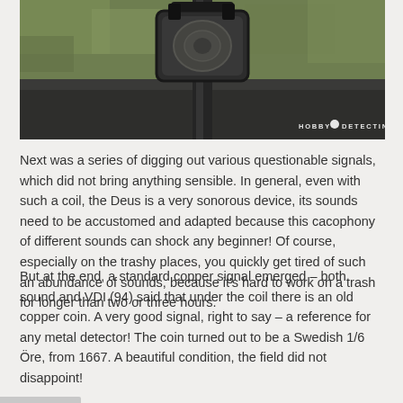[Figure (photo): Close-up photo of a metal detector coil head mounted on a shaft, against a grassy background. Watermark reads 'HOBBY DETECTING' in the bottom-right corner.]
Next was a series of digging out various questionable signals, which did not bring anything sensible. In general, even with such a coil, the Deus is a very sonorous device, its sounds need to be accustomed and adapted because this cacophony of different sounds can shock any beginner! Of course, especially on the trashy places, you quickly get tired of such an abundance of sounds, because it's hard to work on a trash for longer than two or three hours.
But at the end, a standard copper signal emerged – both sound and VDI (94) said that under the coil there is an old copper coin. A very good signal, right to say – a reference for any metal detector! The coin turned out to be a Swedish 1/6 Öre, from 1667. A beautiful condition, the field did not disappoint!